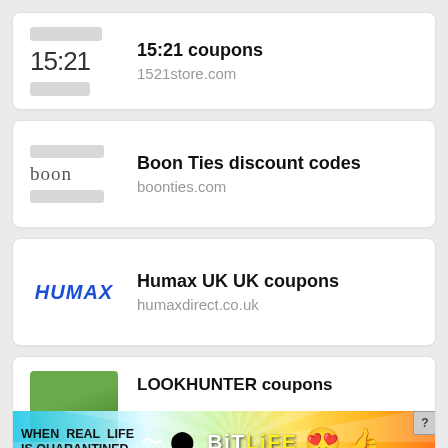[Figure (logo): 15:21 store logo card with text 15:21]
15:21 coupons
1521store.com
[Figure (logo): Boon Ties logo card with boon text]
Boon Ties discount codes
boonties.com
[Figure (logo): HUMAX blue italic logo]
Humax UK UK coupons
humaxdirect.co.uk
[Figure (photo): LOOKHUNTER thumbnail with garden/tree image]
LOOKHUNTER coupons
[Figure (infographic): BitLife advertisement banner: WHEN REAL LIFE IS QUARANTINED with rainbow background and emoji]